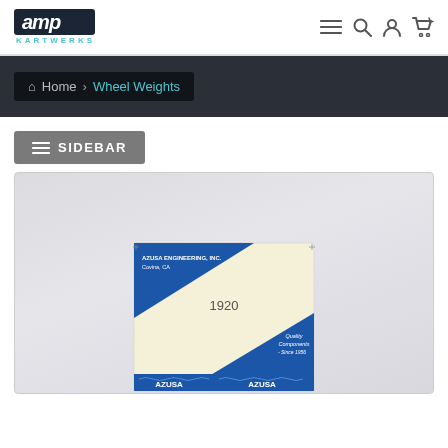[Figure (logo): AMP Kartwerks logo — bold italic white text on dark navy background, with 'KARTWERKS' in teal letters below]
[Figure (screenshot): Navigation icons: hamburger menu, search magnifier, user account, shopping cart]
Home › Wheel Weights
≡ SIDEBAR
[Figure (photo): Azusa Engineering Inc. wheel weights product packaging box, showing blue and cream/yellow box with 'AZUSA' branding, item number 1920, 'Quality Components Since 1956' text, Covina CA label]